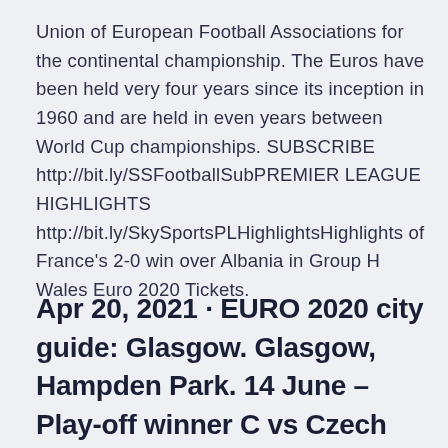Union of European Football Associations for the continental championship. The Euros have been held very four years since its inception in 1960 and are held in even years between World Cup championships. SUBSCRIBE http://bit.ly/SSFootballSubPREMIER LEAGUE HIGHLIGHTS http://bit.ly/SkySportsPLHighlightsHighlights of France's 2-0 win over Albania in Group H Wales Euro 2020 Tickets.
Apr 20, 2021 · EURO 2020 city guide: Glasgow. Glasgow, Hampden Park. 14 June – Play-off winner C vs Czech Republic (15:00 CET) 18 June – Croatia vs Czech Republic